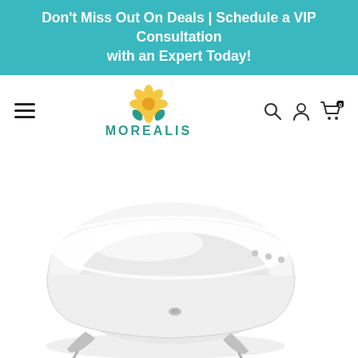Don't Miss Out On Deals | Schedule a VIP Consultation with an Expert Today!
[Figure (logo): Morealis logo with yellow daisy flower and teal leaf accents above the word MOREALIS in teal uppercase letters]
[Figure (photo): White clawfoot bathtub with silver/chrome claw feet on a white background, viewed at a slight angle from above]